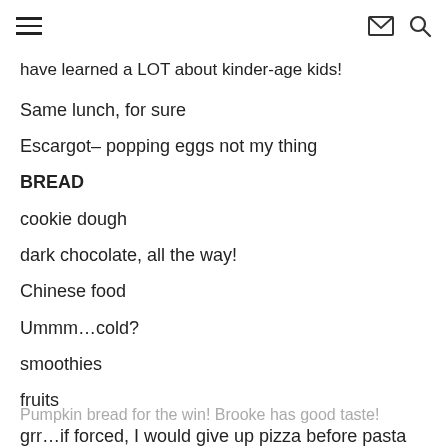≡  ✉ 🔍
have learned a LOT about kinder-age kids!
Same lunch, for sure
Escargot– popping eggs not my thing
BREAD
cookie dough
dark chocolate, all the way!
Chinese food
Ummm…cold?
smoothies
fruits
grr…if forced, I would give up pizza before pasta
Pumpkin bread for the win! Brooke has good taste!
Meet…Knox Also a meet Also this is a about the